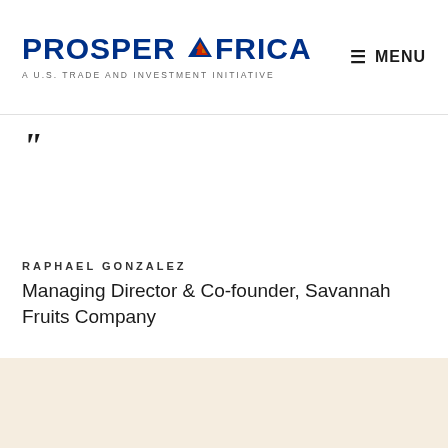PROSPER AFRICA | A U.S. TRADE AND INVESTMENT INITIATIVE | MENU
”
RAPHAEL GONZALEZ
Managing Director & Co-founder, Savannah Fruits Company